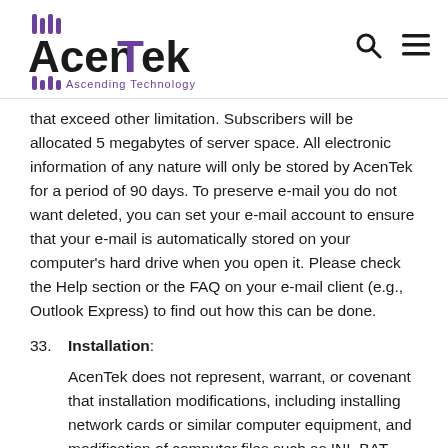AcenTek — Ascending Technology
that exceed other limitation. Subscribers will be allocated 5 megabytes of server space. All electronic information of any nature will only be stored by AcenTek for a period of 90 days. To preserve e-mail you do not want deleted, you can set your e-mail account to ensure that your e-mail is automatically stored on your computer's hard drive when you open it. Please check the Help section or the FAQ on your e-mail client (e.g., Outlook Express) to find out how this can be done.
33. Installation: AcenTek does not represent, warrant, or covenant that installation modifications, including installing network cards or similar computer equipment, and modification of computer files such as INI, BAT...
AcenTek does not represent, warrant, or covenant that installation modifications, including installing network cards or similar computer equipment, and modification of computer files such as INI, BAT